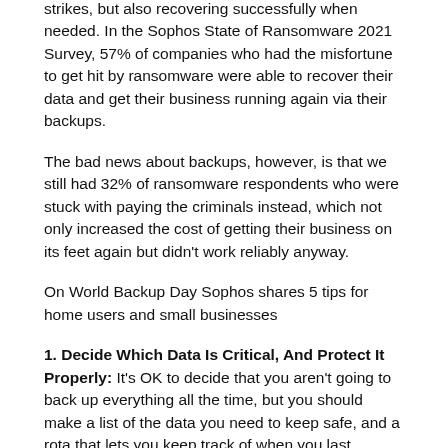strikes, but also recovering successfully when needed. In the Sophos State of Ransomware 2021 Survey, 57% of companies who had the misfortune to get hit by ransomware were able to recover their data and get their business running again via their backups.
The bad news about backups, however, is that we still had 32% of ransomware respondents who were stuck with paying the criminals instead, which not only increased the cost of getting their business on its feet again but didn't work reliably anyway.
On World Backup Day Sophos shares 5 tips for home users and small businesses
1. Decide Which Data Is Critical, And Protect It Properly:
It's OK to decide that you aren't going to back up everything all the time, but you should make a list of the data you need to keep safe, and a rota that lets you keep track of when you last backed it up. If you have a